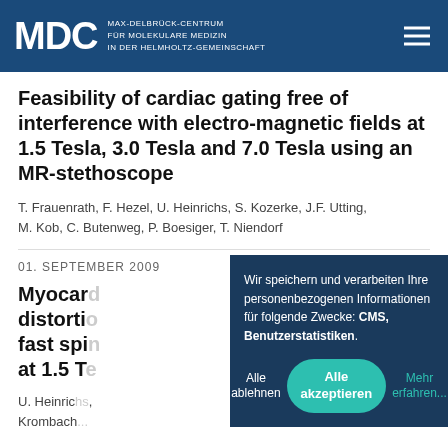MDC MAX-DELBRÜCK-CENTRUM FÜR MOLEKULARE MEDIZIN IN DER HELMHOLTZ-GEMEINSCHAFT
Feasibility of cardiac gating free of interference with electro-magnetic fields at 1.5 Tesla, 3.0 Tesla and 7.0 Tesla using an MR-stethoscope
T. Frauenrath, F. Hezel, U. Heinrichs, S. Kozerke, J.F. Utting, M. Kob, C. Butenweg, P. Boesiger, T. Niendorf
01. SEPTEMBER 2009
Myocar... distorti... fast spi... at 1.5 T...
U. Heinric... Krombach...
Wir speichern und verarbeiten Ihre personenbezogenen Informationen für folgende Zwecke: CMS, Benutzerstatistiken.